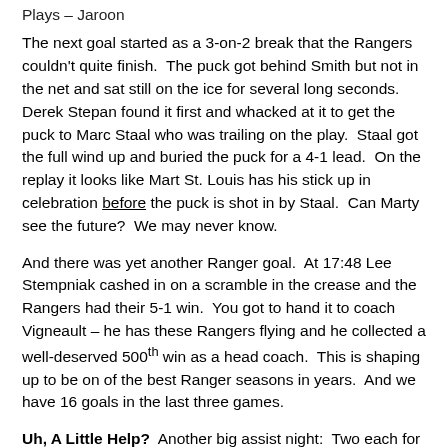Plays – Jaroon
The next goal started as a 3-on-2 break that the Rangers couldn't quite finish.  The puck got behind Smith but not in the net and sat still on the ice for several long seconds.  Derek Stepan found it first and whacked at it to get the puck to Marc Staal who was trailing on the play.  Staal got the full wind up and buried the puck for a 4-1 lead.  On the replay it looks like Mart St. Louis has his stick up in celebration before the puck is shot in by Staal.  Can Marty see the future?  We may never know.
And there was yet another Ranger goal.  At 17:48 Lee Stempniak cashed in on a scramble in the crease and the Rangers had their 5-1 win.  You got to hand it to coach Vigneault – he has these Rangers flying and he collected a well-deserved 500th win as a head coach.  This is shaping up to be on of the best Ranger seasons in years.  And we have 16 goals in the last three games.
Uh, A Little Help?  Another big assist night:  Two each for Stepan and Klein.  Single assists for St. Louis (finally),